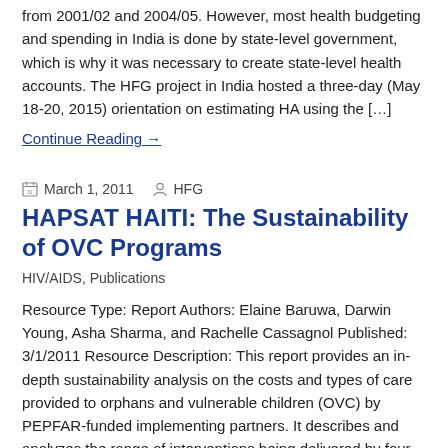from 2001/02 and 2004/05. However, most health budgeting and spending in India is done by state-level government, which is why it was necessary to create state-level health accounts. The HFG project in India hosted a three-day (May 18-20, 2015) orientation on estimating HA using the […]
Continue Reading →
March 1, 2011   HFG
HAPSAT HAITI: The Sustainability of OVC Programs
HIV/AIDS, Publications
Resource Type: Report Authors: Elaine Baruwa, Darwin Young, Asha Sharma, and Rachelle Cassagnol Published: 3/1/2011 Resource Description: This report provides an in-depth sustainability analysis on the costs and types of care provided to orphans and vulnerable children (OVC) by PEPFAR-funded implementing partners. It describes and analyzes the range of interventions being delivered by four partners. The costs from […]